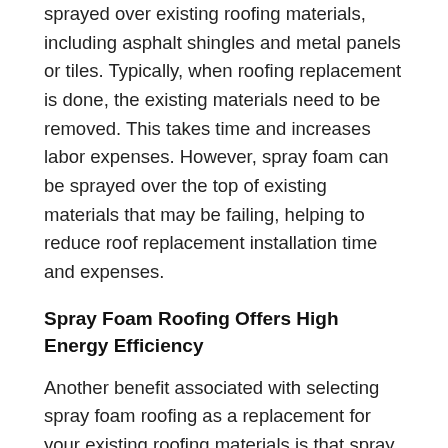sprayed over existing roofing materials, including asphalt shingles and metal panels or tiles. Typically, when roofing replacement is done, the existing materials need to be removed. This takes time and increases labor expenses. However, spray foam can be sprayed over the top of existing materials that may be failing, helping to reduce roof replacement installation time and expenses.
Spray Foam Roofing Offers High Energy Efficiency
Another benefit associated with selecting spray foam roofing as a replacement for your existing roofing materials is that spray foam offers high